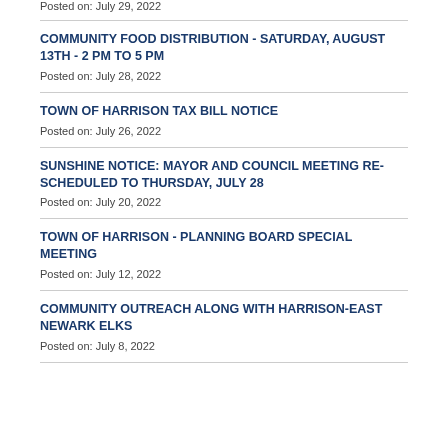Posted on: July 29, 2022
COMMUNITY FOOD DISTRIBUTION - SATURDAY, AUGUST 13TH - 2 PM TO 5 PM
Posted on: July 28, 2022
TOWN OF HARRISON TAX BILL NOTICE
Posted on: July 26, 2022
SUNSHINE NOTICE: MAYOR AND COUNCIL MEETING RE-SCHEDULED TO THURSDAY, JULY 28
Posted on: July 20, 2022
TOWN OF HARRISON - PLANNING BOARD SPECIAL MEETING
Posted on: July 12, 2022
COMMUNITY OUTREACH ALONG WITH HARRISON-EAST NEWARK ELKS
Posted on: July 8, 2022